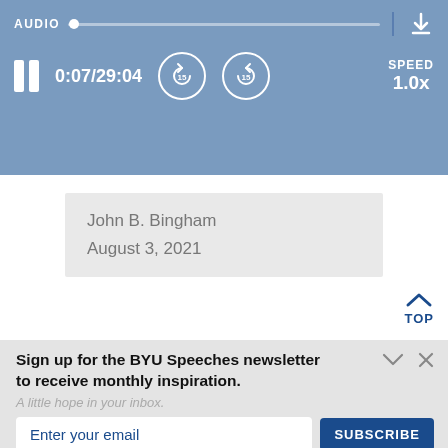[Figure (screenshot): Audio player bar with playback controls showing AUDIO label, progress slider, pause button, timestamp 0:07/29:04, rewind 15s and forward 15s buttons, SPEED 1.0x, and download icon]
John B. Bingham
August 3, 2021
TOP
Sign up for the BYU Speeches newsletter to receive monthly inspiration.
A little hope in your inbox.
Enter your email
SUBSCRIBE